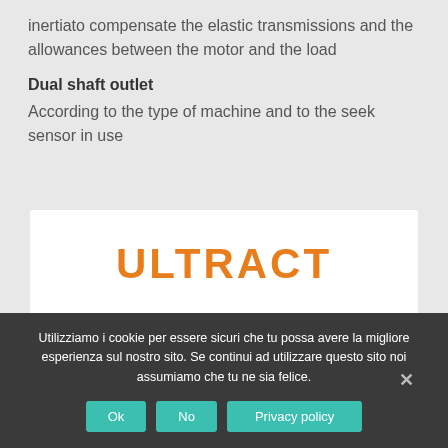inertiato compensate the elastic transmissions and the allowances between the motor and the load
Dual shaft outlet
According to the type of machine and to the seek sensor in use
ULTRACT
CORRELATED PAGES
Utilizziamo i cookie per essere sicuri che tu possa avere la migliore esperienza sul nostro sito. Se continui ad utilizzare questo sito noi assumiamo che tu ne sia felice.